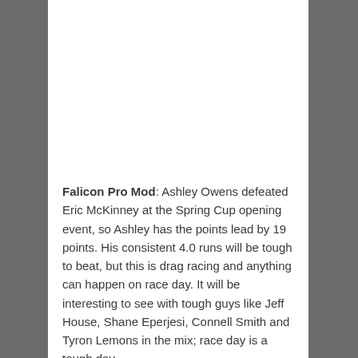Falicon Pro Mod: Ashley Owens defeated Eric McKinney at the Spring Cup opening event, so Ashley has the points lead by 19 points. His consistent 4.0 runs will be tough to beat, but this is drag racing and anything can happen on race day. It will be interesting to see with tough guys like Jeff House, Shane Eperjesi, Connell Smith and Tyron Lemons in the mix; race day is a tough day.